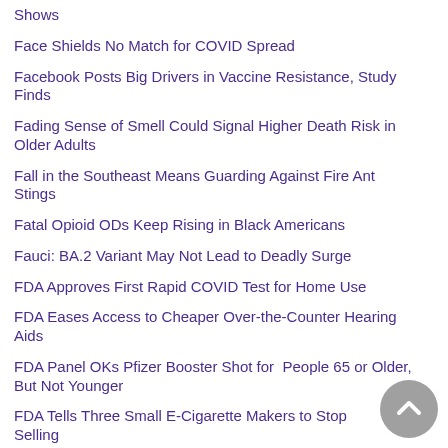Shows
Face Shields No Match for COVID Spread
Facebook Posts Big Drivers in Vaccine Resistance, Study Finds
Fading Sense of Smell Could Signal Higher Death Risk in Older Adults
Fall in the Southeast Means Guarding Against Fire Ant Stings
Fatal Opioid ODs Keep Rising in Black Americans
Fauci: BA.2 Variant May Not Lead to Deadly Surge
FDA Approves First Rapid COVID Test for Home Use
FDA Eases Access to Cheaper Over-the-Counter Hearing Aids
FDA Panel OKs Pfizer Booster Shot for People 65 or Older, But Not Younger
FDA Tells Three Small E-Cigarette Makers to Stop Selling Flavored Products